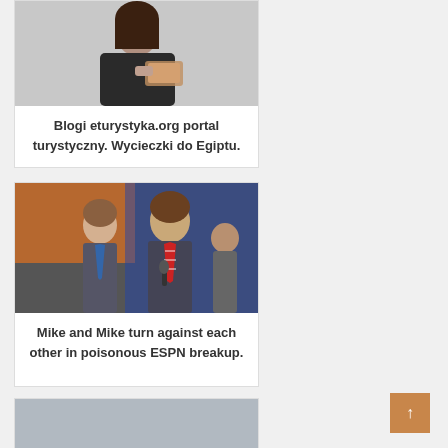[Figure (photo): Woman in black outfit holding a mobile phone/card, smiling, white background]
Blogi eturystyka.org portal turystyczny. Wycieczki do Egiptu.
[Figure (photo): Two men in suits at a podium/event, one wearing a red striped tie, ESPN-related backdrop]
Mike and Mike turn against each other in poisonous ESPN breakup.
[Figure (photo): Partial view of another card/article image at the bottom of the page]